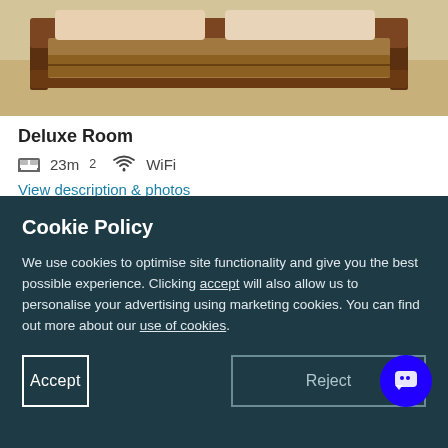[Figure (photo): Photo of a wooden bed frame in a hotel room with tiled floor]
Deluxe Room
23m² WiFi
View description & photos
Cookie Policy
We use cookies to optimise site functionality and give you the best possible experience. Clicking accept will also allow us to personalise your advertising using marketing cookies. You can find out more about our use of cookies.
Accept
Reject